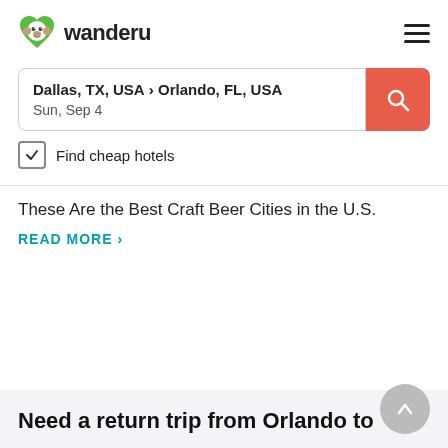wanderu
Dallas, TX, USA › Orlando, FL, USA
Sun, Sep 4
Find cheap hotels
These Are the Best Craft Beer Cities in the U.S.
READ MORE ›
Need a return trip from Orlando to